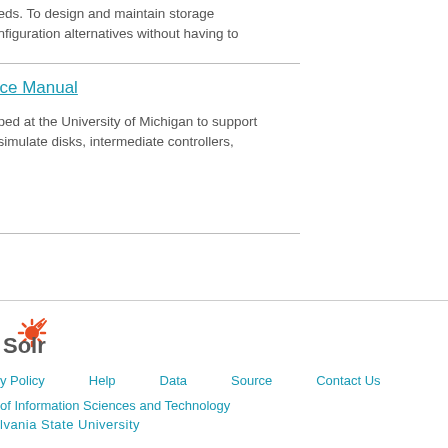eeds. To design and maintain storage onfiguration alternatives without having to
nce Manual
oped at the University of Michigan to support t simulate disks, intermediate controllers,
[Figure (logo): Apache Solr logo with orange sunburst graphic and text 'Solr']
y Policy   Help   Data   Source   Contact Us
of Information Sciences and Technology
lvania State University